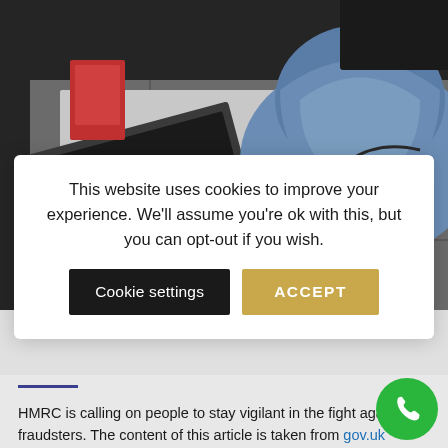[Figure (photo): Person wearing blue hoodie typing on computer keyboard, viewed from above. Multiple keyboards and computer equipment visible on desk.]
This website uses cookies to improve your experience. We'll assume you're ok with this, but you can opt-out if you wish. [Cookie settings] [ACCEPT]
HMRC is calling on people to stay vigilant in the fight against fraudsters. The content of this article is taken from gov.uk website and helps you how to spot fake HMRC emails, sms, and phone calls